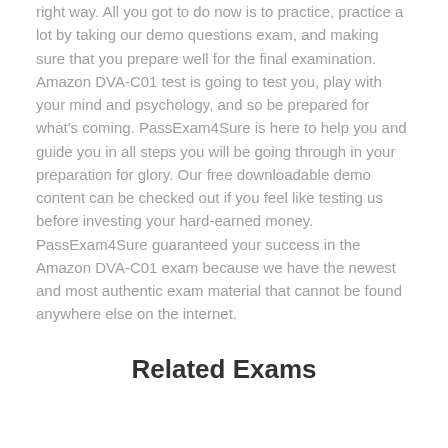right way. All you got to do now is to practice, practice a lot by taking our demo questions exam, and making sure that you prepare well for the final examination. Amazon DVA-C01 test is going to test you, play with your mind and psychology, and so be prepared for what's coming. PassExam4Sure is here to help you and guide you in all steps you will be going through in your preparation for glory. Our free downloadable demo content can be checked out if you feel like testing us before investing your hard-earned money. PassExam4Sure guaranteed your success in the Amazon DVA-C01 exam because we have the newest and most authentic exam material that cannot be found anywhere else on the internet.
Related Exams
OUR CLIENTS SAY ABOUT AMAZON DVA-C01 EXAM